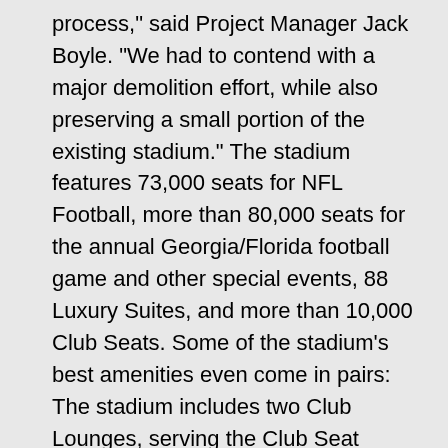process," said Project Manager Jack Boyle. "We had to contend with a major demolition effort, while also preserving a small portion of the existing stadium." The stadium features 73,000 seats for NFL Football, more than 80,000 seats for the annual Georgia/Florida football game and other special events, 88 Luxury Suites, and more than 10,000 Club Seats. Some of the stadium's best amenities even come in pairs: The stadium includes two Club Lounges, serving the Club Seat patrons along each sideline, and two giant scoreboards, each with video replay capability. This is one of three major stadium openings that HOK Sport will celebrate this year. Coors Field, a new ballpark in downtown Denver and home to the Colorado Rockies, made its debut in April. October will mark the opening of the St. Louis Domed Stadium, the new home for the NFL Rams, which was designed by HOK Sport in conjunction with its parent organization, St. Louis-based Hellmuth, Obata + Kassabaum. In store for 1996 are openings for the new 19,000-seat Nashville